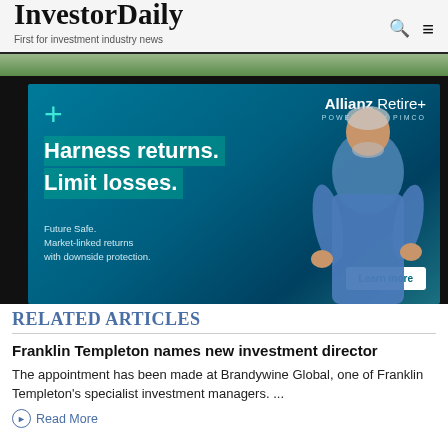InvestorDaily — First for investment industry news
[Figure (photo): Outdoor greenery strip at top of page behind header]
[Figure (infographic): Allianz Retire+ advertisement powered by PIMCO. Blue background with man. Headline: Harness returns. Limit losses. Subtext: Future Safe. Market-linked returns with downside protection. Button: Learn more.]
RELATED ARTICLES
Franklin Templeton names new investment director
The appointment has been made at Brandywine Global, one of Franklin Templeton's specialist investment managers. ...
Read More